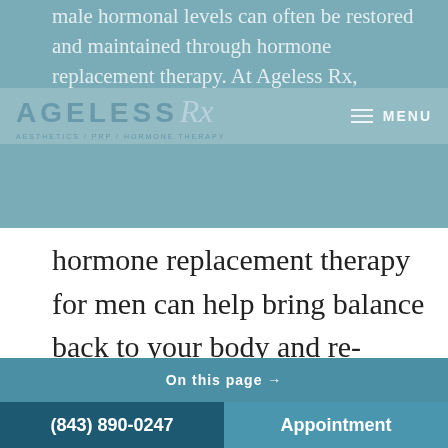AGELESS Rx — AESTHETICS / PRP / HORMONE THERAPY
male hormonal levels can often be restored and maintained through hormone replacement therapy. At Ageless Rx,
hormone replacement therapy for men can help bring balance back to your body and re-energize your daily life.
On this page →
[Figure (photo): Marble or stone texture background image in light grey-blue tones]
(843) 890-0247    Appointment